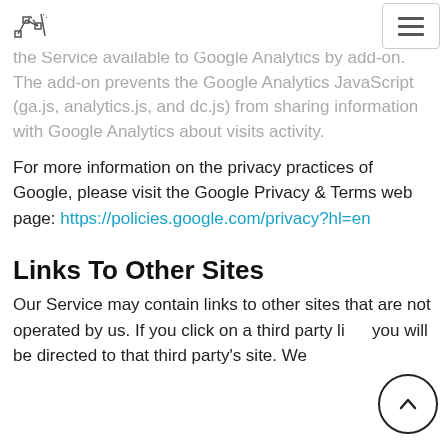[Logo] [Hamburger menu button]
the Service available to Google Analytics by add-on. The add-on prevents the Google Analytics JavaScript (ga.js, analytics.js, and dc.js) from sharing information with Google Analytics about visits activity.
For more information on the privacy practices of Google, please visit the Google Privacy & Terms web page: https://policies.google.com/privacy?hl=en
Links To Other Sites
Our Service may contain links to other sites that are not operated by us. If you click on a third party link, you will be directed to that third party's site. We strongly advise you to review the Privacy Policy of